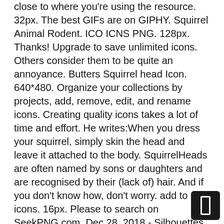close to where you're using the resource. 32px. The best GIFs are on GIPHY. Squirrel Animal Rodent. ICO ICNS PNG. 128px. Thanks! Upgrade to save unlimited icons. Others consider them to be quite an annoyance. Butters Squirrel head Icon. 640*480. Organize your collections by projects, add, remove, edit, and rename icons. Creating quality icons takes a lot of time and effort. He writes:When you dress your squirrel, simply skin the head and leave it attached to the body. SquirrelHeads are often named by sons or daughters and are recognised by their (lack of) hair. And if you don't know how, don't worry. add to my icons. 16px. Please to search on SeekPNG.com. Dec 28, 2018 - Silhouettes Squirrel Silhouettes. Please download image via "Download PNG" button, If you find any inappropriate image content on SeekPNG.com, please, Horse Head Squirrel Feeder - Squirrel Horse Head, Squirrel Head Png - Squirrel Face Clip Art, Banner Black And White Head Png For Free Download On - Transparent Eastern Gray Squirrel, Download Squirrel Png Transparent Images Transparent - Red Squirrel Png, Squirrel Png Hd Transparent Squirrel H Squirrel Png, Squirrel Png - Baby Squirrel White